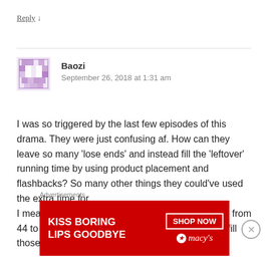Reply ↓
[Figure (illustration): Purple pixel/mosaic avatar for user Baozi]
Baozi
September 26, 2018 at 1:31 am
I was so triggered by the last few episodes of this drama. They were just confusing af. How can they leave so many 'lose ends' and instead fill the 'leftover' running time by using product placement and flashbacks? So many other things they could've used the extra time for.
I mean, If they decide to extend the episode count from 44 to 49, you'd think they'd have enough script to fill those
Advertisements
[Figure (infographic): Macy's advertisement banner: KISS BORING LIPS GOODBYE with SHOP NOW button and Macy's star logo on red background]